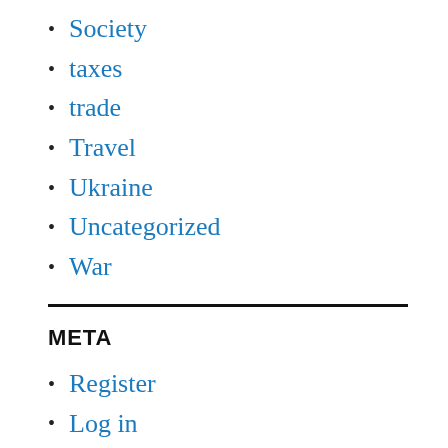Society
taxes
trade
Travel
Ukraine
Uncategorized
War
META
Register
Log in
Entries feed
Comments feed